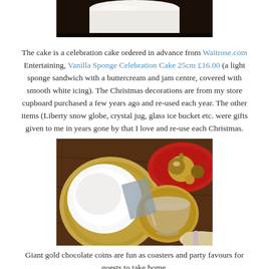[Figure (photo): Top portion of a white celebration cake on a dark surface, cropped at top of page]
The cake is a celebration cake ordered in advance from Waitrose.com Entertaining, Vanilla Sponge Celebration Cake 25cm £16.00 (a light sponge sandwich with a buttercream and jam centre, covered with smooth white icing). The Christmas decorations are from my store cupboard purchased a few years ago and re-used each year. The other items (Liberty snow globe, crystal jug, glass ice bucket etc. were gifts given to me in years gone by that I love and re-use each Christmas.
[Figure (photo): Table setting with a gold-rimmed white plate, a crystal glass on a gold chocolate coin coaster, a red plate with gold Christmas ball ornaments, and a rolled napkin in the background]
Giant gold chocolate coins are fun as coasters and party favours for guests to take home.